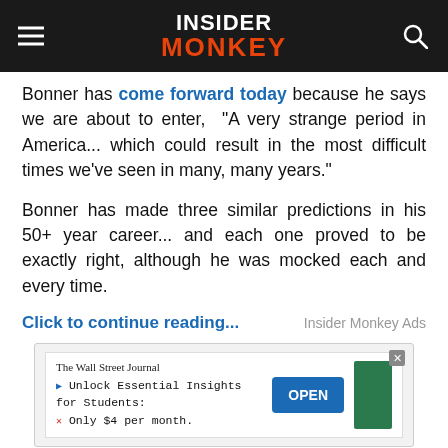Insider Monkey
Bonner has come forward today because he says we are about to enter, “A very strange period in America… which could result in the most difficult times we’ve seen in many, many years.”
Bonner has made three similar predictions in his 50+ year career… and each one proved to be exactly right, although he was mocked each and every time.
Click to continue reading...                    Insider Monkey Ads
[Figure (screenshot): Wall Street Journal advertisement: Unlock Essential Insights for Students: Only $4 per month. OPEN button on the right, green block on far right.]